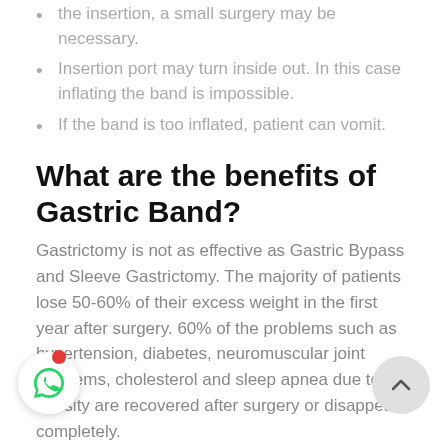the insertion, a small surgery may be necessary.
Insertion port may turn inside out. In this case inflating the band is impossible.
If the band is too inflated, patient can vomit.
What are the benefits of Gastric Band?
Gastrictomy is not as effective as Gastric Bypass and Sleeve Gastrictomy. The majority of patients lose 50-60% of their excess weight in the first year after surgery. 60% of the problems such as hypertension, diabetes, neuromuscular joint problems, cholesterol and sleep apnea due to obesity are recovered after surgery or disappear completely.
W... ficient weight is lost after the operation, the following diseases that occur as a result of obesity may